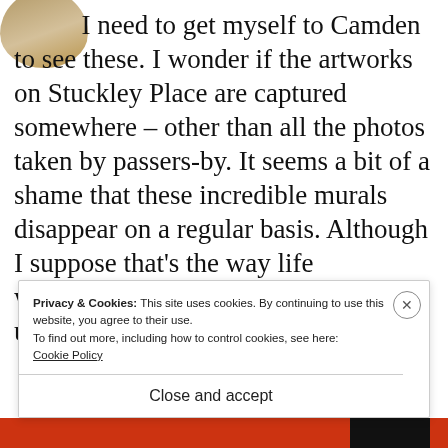[Figure (photo): Partial circular avatar image in top-left corner showing a light-colored illustration or photo, cropped to a circle]
I need to get myself to Camden to see these. I wonder if the artworks on Stuckley Place are captured somewhere – other than all the photos taken by passers-by. It seems a bit of a shame that these incredible murals disappear on a regular basis. Although I suppose that's the way life works....great post, thanks for linking up with #CulturedKids
Privacy & Cookies: This site uses cookies. By continuing to use this website, you agree to their use.
To find out more, including how to control cookies, see here:
Cookie Policy
Close and accept